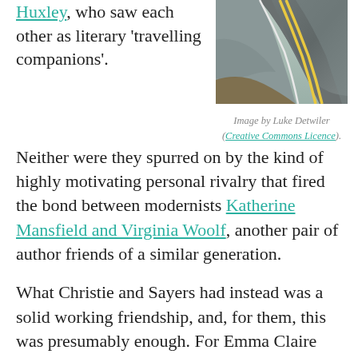Huxley, who saw each other as literary 'travelling companions'.
[Figure (photo): A curved road with yellow center lines, surrounded by autumn foliage and gravel shoulder.]
Image by Luke Detwiler (Creative Commons Licence).
Neither were they spurred on by the kind of highly motivating personal rivalry that fired the bond between modernists Katherine Mansfield and Virginia Woolf, another pair of author friends of a similar generation.
What Christie and Sayers had instead was a solid working friendship, and, for them, this was presumably enough. For Emma Claire and me it never has been, though.
As some of our readers will already be aware, we got to